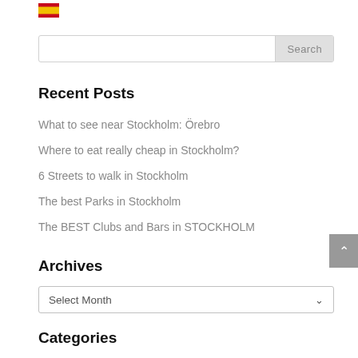[Figure (illustration): Spanish flag emoji/icon in top left area]
Search
Recent Posts
What to see near Stockholm: Örebro
Where to eat really cheap in Stockholm?
6 Streets to walk in Stockholm
The best Parks in Stockholm
The BEST Clubs and Bars in STOCKHOLM
Archives
Select Month
Categories